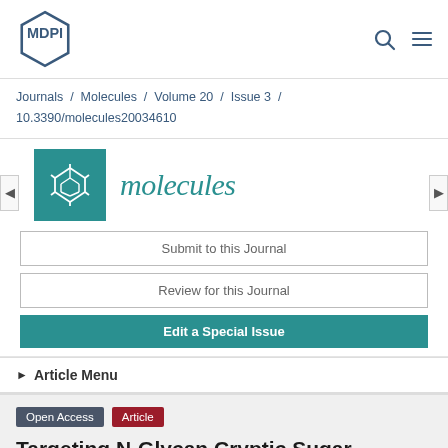[Figure (logo): MDPI hexagonal logo in top-left corner]
Journals / Molecules / Volume 20 / Issue 3 / 10.3390/molecules20034610
[Figure (logo): Molecules journal logo: teal square with molecular structure graphic and italic 'molecules' text in teal]
Submit to this Journal
Review for this Journal
Edit a Special Issue
Article Menu
Open Access   Article
Targeting N-Glycan Cryptic Sugar...